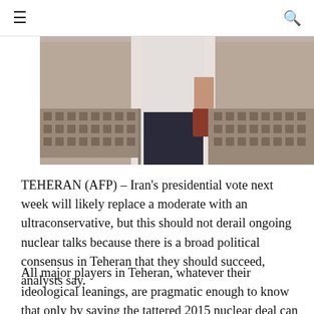☰   🔍
[Figure (photo): Street photo of a person in a white shirt walking past a wall with decorative grille elements. The image is partially cropped at the top by a white navigation bar.]
TEHERAN (AFP) – Iran's presidential vote next week will likely replace a moderate with an ultraconservative, but this should not derail ongoing nuclear talks because there is a broad political consensus in Teheran that they should succeed, analysts say.
All major players in Teheran, whatever their ideological leanings, are pragmatic enough to know that only by saving the tattered 2015 nuclear deal can the Islamic republic free itself from crippling US sanctions, they argue.
The decision to try to revive the agreement, struck under moderate President Hassan Rouhani, now